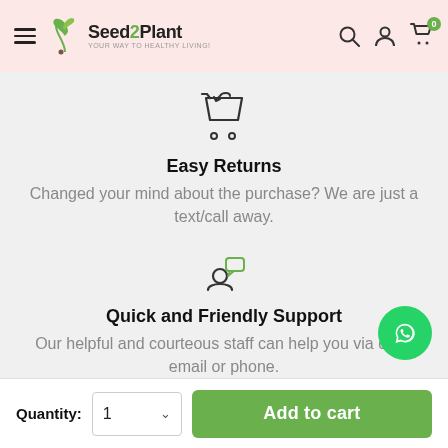Seed2Plant – YOUR WAY TO HEALTHY LIVING!
[Figure (illustration): Shopping cart with return arrow icon (dark outline)]
Easy Returns
Changed your mind about the purchase? We are just a text/call away.
[Figure (illustration): Person with speech bubble chat icon (dark outline)]
Quick and Friendly Support
Our helpful and courteous staff can help you via chat, email or phone.
[Figure (illustration): WhatsApp green circle button icon]
Quantity: 1  Add to cart